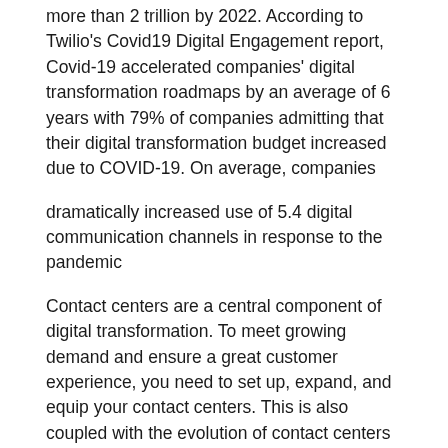more than 2 trillion by 2022. According to Twilio's Covid19 Digital Engagement report, Covid-19 accelerated companies' digital transformation roadmaps by an average of 6 years with 79% of companies admitting that their digital transformation budget increased due to COVID-19. On average, companies
dramatically increased use of 5.4 digital communication channels in response to the pandemic
Contact centers are a central component of digital transformation. To meet growing demand and ensure a great customer experience, you need to set up, expand, and equip your contact centers. This is also coupled with the evolution of contact centers into customer experience centers. Strategic discussions around digital transformation and improving the customer experience must include the Head of Contact Centers to ensure business success and longevity.